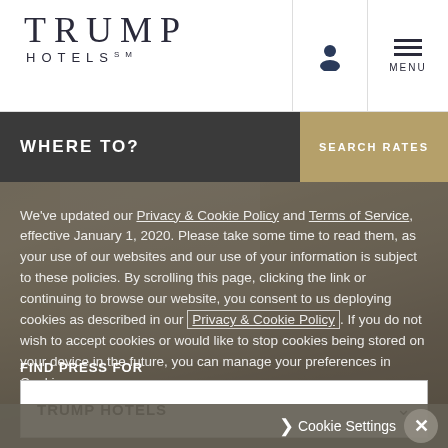[Figure (logo): Trump Hotels logo with serif TRUMP text and spaced HOTELS text below]
WHERE TO?
SEARCH RATES
[Figure (photo): Luxury hotel suite interior with large windows, neutral-toned furniture, curtains, and city/ocean view]
We've updated our Privacy & Cookie Policy and Terms of Service, effective January 1, 2020. Please take some time to read them, as your use of our websites and our use of your information is subject to these policies. By scrolling this page, clicking the link or continuing to browse our website, you consent to us deploying cookies as described in our Privacy & Cookie Policy. If you do not wish to accept cookies or would like to stop cookies being stored on your device in the future, you can manage your preferences in Cookie
FIND PRESS FOR
TRUMP HOTELS
Cookie Settings